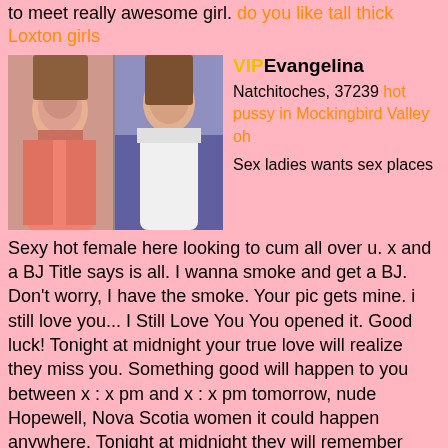to meet really awesome girl. do you like tall thick Loxton girls
[Figure (photo): Two photos of young women side by side; left photo shows a woman in a pink top, right photo shows a woman in a white outfit on a bed with purple background]
VIPEvangelina
Natchitoches, 37239 hot pussy in Mockingbird Valley oh
Sex ladies wants sex places
Sexy hot female here looking to cum all over u. x and a BJ Title says is all. I wanna smoke and get a BJ. Don't worry, I have the smoke. Your pic gets mine. i still love you... I Still Love You You opened it. Good luck! Tonight at midnight your true love will realize they miss you. Something good will happen to you between x : x pm and x : x pm tomorrow, nude Hopewell, Nova Scotia women it could happen anywhere. Tonight at midnight they will remember how much they loved you. You will get a shock of a lifetime, a good xxx If you break the chain you will be cursed with relationship problems for the next x years. Karma. If there is someone you loved, or still do, and